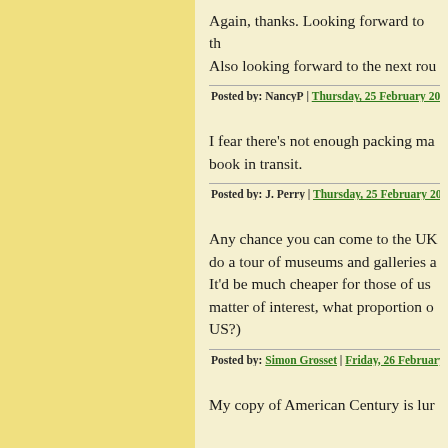Again, thanks. Looking forward to th… Also looking forward to the next rou…
Posted by: NancyP | Thursday, 25 February 2016 at 09…
I fear there's not enough packing ma… book in transit.
Posted by: J. Perry | Thursday, 25 February 2016 at 1…
Any chance you can come to the UK… do a tour of museums and galleries a… It'd be much cheaper for those of us … matter of interest, what proportion o… US?)
Posted by: Simon Grosset | Friday, 26 February 2016 a…
My copy of American Century is lur…